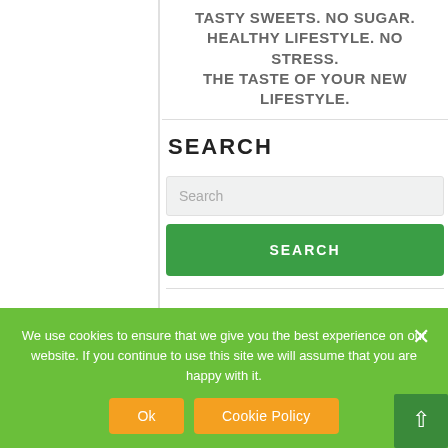TASTY SWEETS. NO SUGAR. HEALTHY LIFESTYLE. NO STRESS. THE TASTE OF YOUR NEW LIFESTYLE.
SEARCH
Search
SEARCH
We use cookies to ensure that we give you the best experience on our website. If you continue to use this site we will assume that you are happy with it.
Ok
Cookie Policy